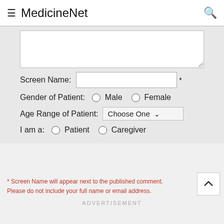MedicineNet
[Figure (screenshot): Web form with textarea, screen name field, gender radio buttons, age range dropdown, and patient/caregiver radio buttons]
* Screen Name will appear next to the published comment. Please do not include your full name or email address.
ADVERTISEMENT